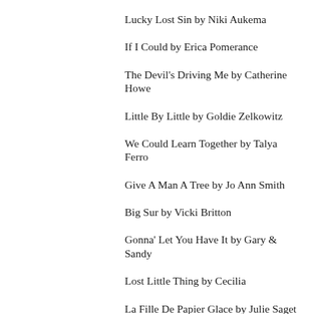Lucky Lost Sin by Niki Aukema
If I Could by Erica Pomerance
The Devil's Driving Me by Catherine Howe
Little By Little by Goldie Zelkowitz
We Could Learn Together by Talya Ferro
Give A Man A Tree by Jo Ann Smith
Big Sur by Vicki Britton
Gonna' Let You Have It by Gary & Sandy
Lost Little Thing by Cecilia
La Fille De Papier Glace by Julie Saget
Les Petits Ballons by France Gall
Some Kind Of Fever by Maxine Sellers